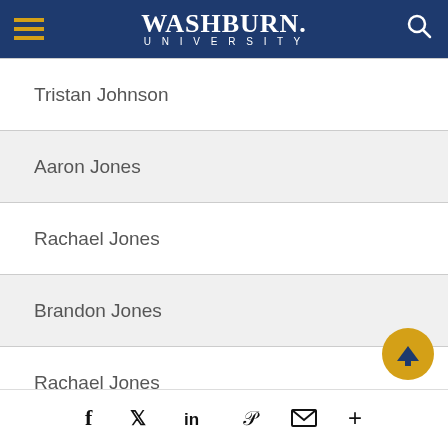Washburn University
Tristan Johnson
Aaron Jones
Rachael Jones
Brandon Jones
Rachael Jones
Facebook, Twitter, LinkedIn, Pinterest, Email, More